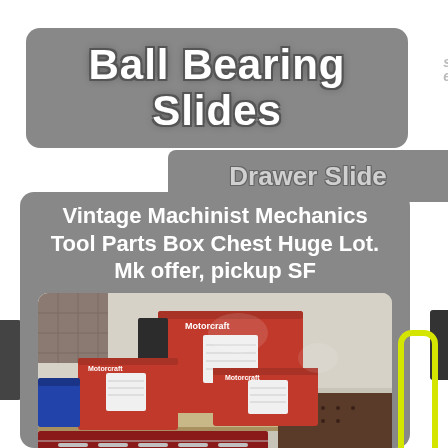Ball Bearing Slides
Drawer Slide
Vintage Machinist Mechanics Tool Parts Box Chest Huge Lot. Mk offer, pickup SF
[Figure (photo): Photo of red Motorcraft branded tool boxes/chests stacked on a workbench in a garage, with a blue box visible on the left and a multi-drawer tool chest below.]